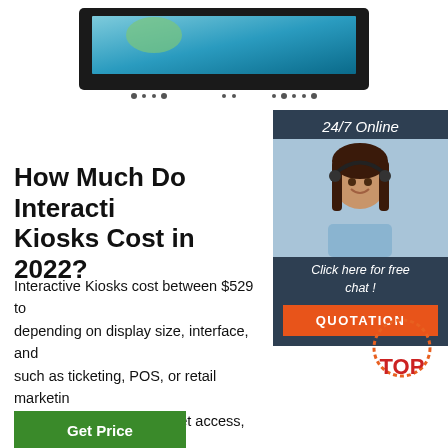[Figure (photo): Open-frame monitor/display panel shown from the front, with a blue gradient background on screen]
[Figure (photo): Sidebar with '24/7 Online' text, a customer service agent woman with headset smiling, 'Click here for free chat!' text, and an orange QUOTATION button]
How Much Do Interactive Kiosks Cost in 2022?
Interactive Kiosks cost between $529 to depending on display size, interface, and such as ticketing, POS, or retail marketing factors may include internet access, using photos, trade shows, or human resources. Kiosk hardware cost depends on indoor or outdoor use, mounting, PC, touchscreen, and peripheral configurations:
[Figure (logo): TOP badge with orange dotted circle and red TOPtext]
Get Price